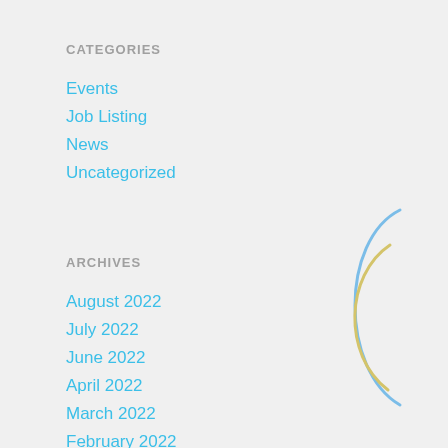CATEGORIES
Events
Job Listing
News
Uncategorized
ARCHIVES
August 2022
July 2022
June 2022
April 2022
March 2022
February 2022
December 2021
[Figure (illustration): Decorative arcs: a blue parenthesis-like arc on the left, a yellow/gold smaller arc in the center, and a rose/salmon arc on the right, forming an abstract bracket decoration]